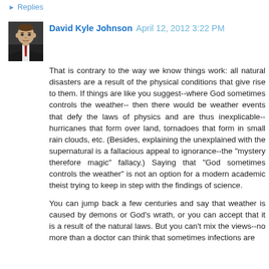Replies
David Kyle Johnson  April 12, 2012 3:22 PM
That is contrary to the way we know things work: all natural disasters are a result of the physical conditions that give rise to them. If things are like you suggest--where God sometimes controls the weather-- then there would be weather events that defy the laws of physics and are thus inexplicable--hurricanes that form over land, tornadoes that form in small rain clouds, etc. (Besides, explaining the unexplained with the supernatural is a fallacious appeal to ignorance--the "mystery therefore magic" fallacy.) Saying that "God sometimes controls the weather" is not an option for a modern academic theist trying to keep in step with the findings of science.
You can jump back a few centuries and say that weather is caused by demons or God's wrath, or you can accept that it is a result of the natural laws. But you can't mix the views--no more than a doctor can think that sometimes infections are